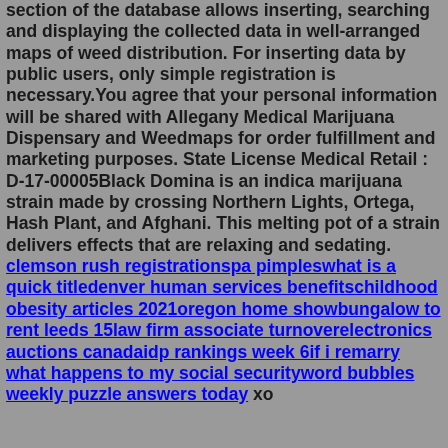section of the database allows inserting, searching and displaying the collected data in well-arranged maps of weed distribution. For inserting data by public users, only simple registration is necessary.You agree that your personal information will be shared with Allegany Medical Marijuana Dispensary and Weedmaps for order fulfillment and marketing purposes. State License Medical Retail : D-17-00005Black Domina is an indica marijuana strain made by crossing Northern Lights, Ortega, Hash Plant, and Afghani. This melting pot of a strain delivers effects that are relaxing and sedating. clemson rush registrationspa pimpleswhat is a quick titledenver human services benefitschildhood obesity articles 2021oregon home showbungalow to rent leeds 15law firm associate turnoverelectronics auctions canadaidp rankings week 6if i remarry what happens to my social securityword bubbles weekly puzzle answers today xo